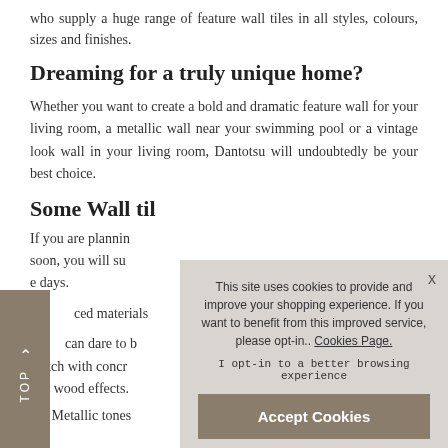who supply a huge range of feature wall tiles in all styles, colours, sizes and finishes.
Dreaming for a truly unique home?
Whether you want to create a bold and dramatic feature wall for your living room, a metallic wall near your swimming pool or a vintage look wall in your living room, Dantotsu will undoubtedly be your best choice.
Some Wall tile ideas for your home
If you are planning... soon, you will su... e days.
...ced materials
...can dare to b... match with concr... and wood effects.
Metallic tones
This site uses cookies to provide and improve your shopping experience. If you want to benefit from this improved service, please opt-in.. Cookies Page.
I opt-in to a better browsing experience
Accept Cookies